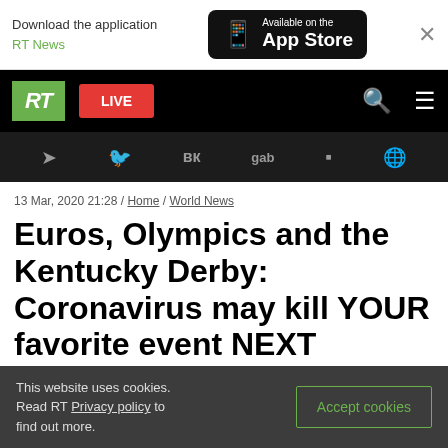[Figure (screenshot): App store download banner with RT News label and Available on the App Store black button]
[Figure (screenshot): RT news website navigation bar with RT logo, LIVE button, search and menu icons, and social media icons bar (Telegram, Twitter, VK, gab, Rumble, globe)]
13 Mar, 2020 21:28 / Home / World News
Euros, Olympics and the Kentucky Derby: Coronavirus may kill YOUR favorite event NEXT
This website uses cookies. Read RT Privacy policy to find out more.